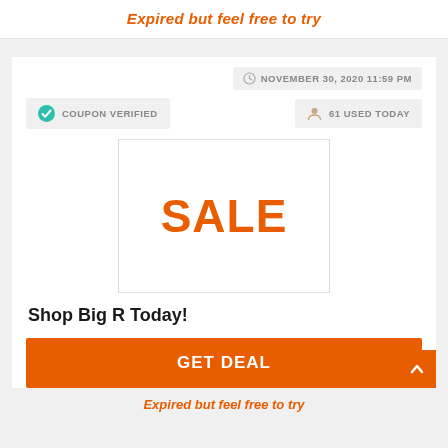Expired but feel free to try
NOVEMBER 30, 2020 11:59 PM
COUPON VERIFIED
61 USED TODAY
[Figure (other): White box with orange SALE text center]
Shop Big R Today!
GET DEAL
Expired but feel free to try